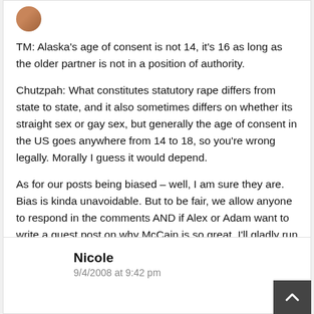[Figure (photo): Partial avatar/profile image, circular crop, brownish tones]
TM: Alaska's age of consent is not 14, it's 16 as long as the older partner is not in a position of authority.
Chutzpah: What constitutes statutory rape differs from state to state, and it also sometimes differs on whether its straight sex or gay sex, but generally the age of consent in the US goes anywhere from 14 to 18, so you're wrong legally. Morally I guess it would depend.
As for our posts being biased – well, I am sure they are. Bias is kinda unavoidable. But to be fair, we allow anyone to respond in the comments AND if Alex or Adam want to write a guest post on why McCain is so great, I'll gladly run it.
Nicole
9/4/2008 at 9:42 pm